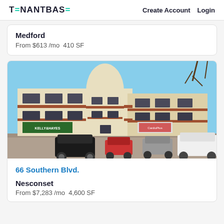TENANTBASE   Create Account   Login
Medford
From $613 /mo  410 SF
[Figure (photo): Exterior photo of a two-story commercial office building with beige/cream facade with red horizontal accent stripes. A Kelly Hayes sign and another business sign visible on ground floor. Several cars parked in front lot. Blue sky background.]
66 Southern Blvd.
Nesconset
From $7,283 /mo  4,600 SF